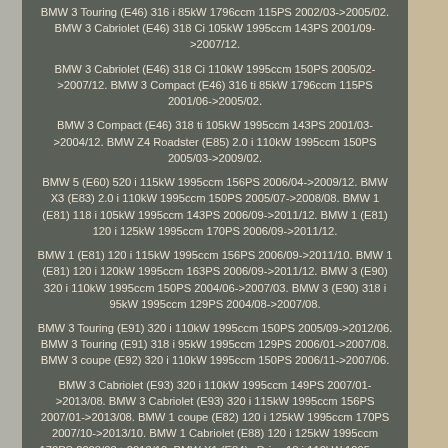BMW 3 Touring (E46) 316 i 85kW 1796ccm 115PS 2002/03->2005/02. BMW 3 Cabriolet (E46) 318 Ci 105kW 1995ccm 143PS 2001/09->2007/12.
BMW 3 Cabriolet (E46) 318 Ci 110kW 1995ccm 150PS 2005/02->2007/12. BMW 3 Compact (E46) 316 ti 85kW 1796ccm 115PS 2001/06->2005/02.
BMW 3 Compact (E46) 318 ti 105kW 1995ccm 143PS 2001/03->2004/12. BMW Z4 Roadster (E85) 2.0 i 110kW 1995ccm 150PS 2005/03->2009/02.
BMW 5 (E60) 520 i 115kW 1995ccm 156PS 2006/04->2009/12. BMW X3 (E83) 2.0 i 110kW 1995ccm 150PS 2005/07->2008/08. BMW 1 (E81) 118 i 105kW 1995ccm 143PS 2006/09->2011/12. BMW 1 (E81) 120 i 125kW 1995ccm 170PS 2006/09->2011/12.
BMW 1 (E81) 120 i 115kW 1995ccm 156PS 2006/09->2011/10. BMW 1 (E81) 120 i 120kW 1995ccm 163PS 2006/09->2011/12. BMW 3 (E90) 320 i 110kW 1995ccm 150PS 2004/06->2007/03. BMW 3 (E90) 318 i 95kW 1995ccm 129PS 2004/08->2007/08.
BMW 3 Touring (E91) 320 i 110kW 1995ccm 150PS 2005/09->2012/06. BMW 3 Touring (E91) 318 i 95kW 1995ccm 129PS 2006/01->2007/08. BMW 3 coupe (E92) 320 i 110kW 1995ccm 150PS 2006/11->2007/06.
BMW 3 Cabriolet (E93) 320 i 110kW 1995ccm 149PS 2007/01->2013/08. BMW 3 Cabriolet (E93) 320 i 115kW 1995ccm 156PS 2007/01->2013/08. BMW 1 coupe (E82) 120 i 125kW 1995ccm 170PS 2007/10->2013/10. BMW 1 Cabriolet (E88) 120 i 125kW 1995ccm 170PS 2008/03->2013/12. BMW X1 (E84) sDrive 18 i 110kW 1995ccm